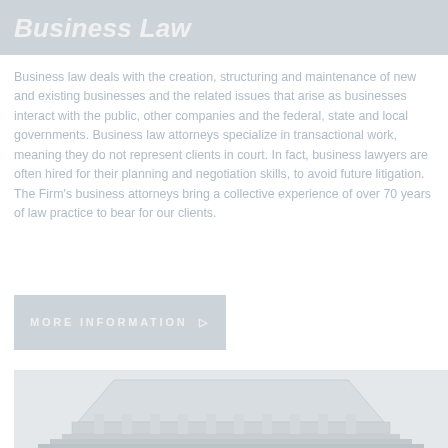Business Law
Business law deals with the creation, structuring and maintenance of new and existing businesses and the related issues that arise as businesses interact with the public, other companies and the federal, state and local governments. Business law attorneys specialize in transactional work, meaning they do not represent clients in court. In fact, business lawyers are often hired for their planning and negotiation skills, to avoid future litigation. The Firm’s business attorneys bring a collective experience of over 70 years of law practice to bear for our clients.
MORE INFORMATION ▷
[Figure (photo): Exterior photo of a classical government or courthouse building showing a triangular pediment with columns, rendered in light gray tones]